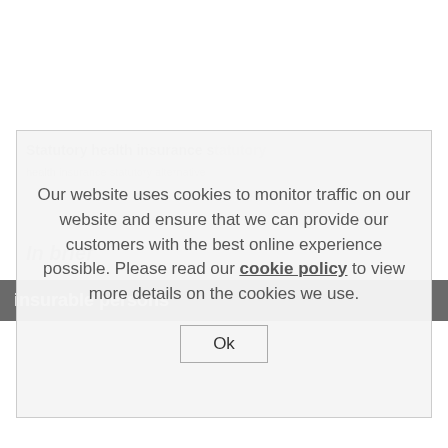[Figure (illustration): Row of seven country flag icons: Germany, UK, China, Spain, France, Turkey, Russia]
[Figure (screenshot): Navigation bar with hamburger menu icon and dropdown arrow on grey background]
Statutory health insurance statutory
health insurance statutory alternative
In brief
insurable persons
Our website uses cookies to monitor traffic on our website and ensure that we can provide our customers with the best online experience possible. Please read our cookie policy to view more details on the cookies we use.
Ok